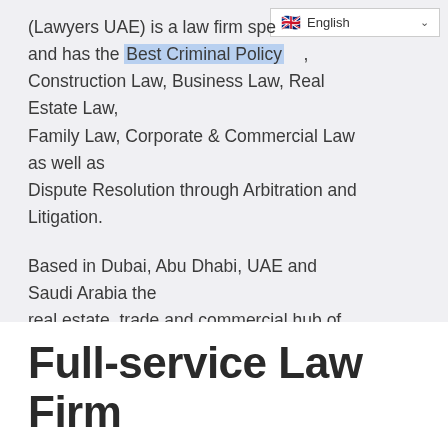[Figure (screenshot): Language selector dropdown showing UK flag and 'English' text with chevron]
(Lawyers UAE) is a law firm specializing in and has the [Best Criminal Policy], Construction Law, Business Law, Real Estate Law, Family Law, Corporate & Commercial Law as well as Dispute Resolution through Arbitration and Litigation. Based in Dubai, Abu Dhabi, UAE and Saudi Arabia the real estate, trade and commercial hub of the Middle East, our geographical location and mixture of legal expertise bridge the gap between East & West.
Full-service Law Firm